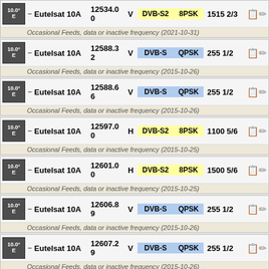| Position | Satellite | Frequency | Pol | Standard | Modulation | SR FEC |
| --- | --- | --- | --- | --- | --- | --- |
| 10.0° E | Eutelsat 10A | 12534.00 | V | DVB-S2 | 8PSK | 1515 2/3 |
| 10.0° E | Eutelsat 10A | 12588.32 | V | DVB-S | QPSK | 255 1/2 |
| 10.0° E | Eutelsat 10A | 12588.66 | V | DVB-S | QPSK | 255 1/2 |
| 10.0° E | Eutelsat 10A | 12597.00 | H | DVB-S2 | 8PSK | 1100 5/6 |
| 10.0° E | Eutelsat 10A | 12601.00 | H | DVB-S2 | 8PSK | 1500 5/6 |
| 10.0° E | Eutelsat 10A | 12606.89 | V | DVB-S | QPSK | 255 1/2 |
| 10.0° E | Eutelsat 10A | 12607.29 | V | DVB-S | QPSK | 255 1/2 |
| 10.0° E | Eutelsat 10A | 12608.06 | V | DVB-S | QPSK | 255 1/2 |
Occasional Feeds, data or inactive frequency (2021-10-31)
Occasional Feeds, data or inactive frequency (2015-10-26)
Occasional Feeds, data or inactive frequency (2015-10-26)
Occasional Feeds, data or inactive frequency (2015-10-25)
Occasional Feeds, data or inactive frequency (2015-10-25)
Occasional Feeds, data or inactive frequency (2015-10-26)
Occasional Feeds, data or inactive frequency (2015-10-26)
Occasional Feeds, data or inactive frequency (2015-10-26)